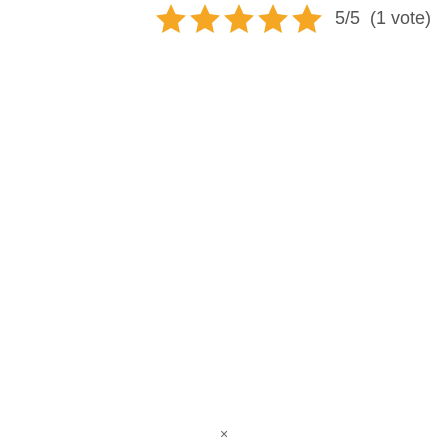[Figure (other): Five orange star icons representing a 5/5 star rating, followed by the text '5/5  (1 vote)']
×